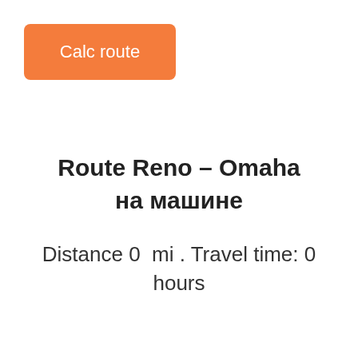[Figure (other): Orange rounded rectangle button with white text 'Calc route']
Route Reno – Omaha на машине
Distance 0  mi . Travel time: 0 hours